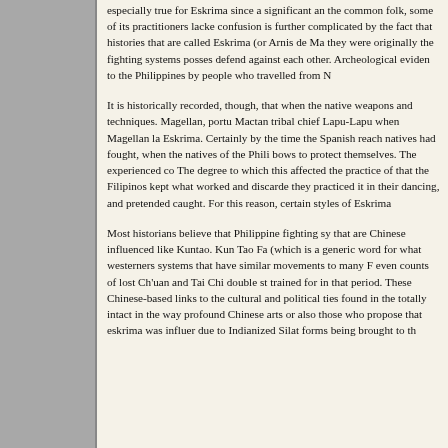especially true for Eskrima since a significant amount of the common folk, some of its practitioners lacked confusion is further complicated by the fact that histories that are called Eskrima (or Arnis de Ma they were originally the fighting systems possess defend against each other. Archeological evidence to the Philippines by people who travelled from M
It is historically recorded, though, that when the native weapons and techniques. Magellan, portu Mactan tribal chief Lapu-Lapu when Magellan la Eskrima. Certainly by the time the Spanish reach natives had fought, when the natives of the Phili bows to protect themselves. The experienced co The degree to which this affected the practice of that the Filipinos kept what worked and discarde they practiced it in their dancing, and pretended caught. For this reason, certain styles of Eskrima
Most historians believe that Philippine fighting sy that are Chinese influenced like Kuntao. Kun Tao Fa (which is a generic word for what westerners systems that have similar movements to many F even counts of lost Ch'uan and Tai Chi double st trained for in that period. These Chinese-based links to the cultural and political ties found in the totally intact in the way profound Chinese arts or also those who propose that eskrima was influer due to Indianized Silat forms being brought to th